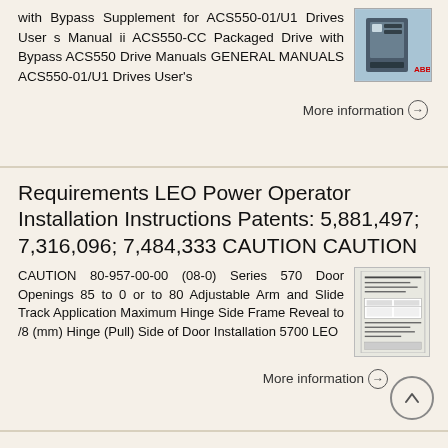with Bypass Supplement for ACS550-01/U1 Drives User s Manual ii ACS550-CC Packaged Drive with Bypass ACS550 Drive Manuals GENERAL MANUALS ACS550-01/U1 Drives User's
[Figure (photo): Photo of an ACS550 drive unit (blue/grey electrical enclosure)]
More information →
Requirements LEO Power Operator Installation Instructions Patents: 5,881,497; 7,316,096; 7,484,333 CAUTION CAUTION
CAUTION 80-957-00-00 (08-0) Series 570 Door Openings 85 to 0 or to 80 Adjustable Arm and Slide Track Application Maximum Hinge Side Frame Reveal to /8 (mm) Hinge (Pull) Side of Door Installation 5700 LEO
[Figure (engineering-diagram): Document/diagram image showing installation instructions with lines and text for LEO Power Operator]
More information →
SECTION DC POWER SUPPLY/BATTERY